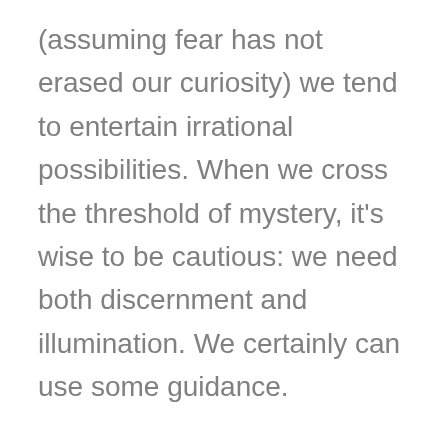(assuming fear has not erased our curiosity) we tend to entertain irrational possibilities. When we cross the threshold of mystery, it's wise to be cautious: we need both discernment and illumination. We certainly can use some guidance.

Spiritual wake up calls can come through in a variety experiences – such as premonitions, psychic